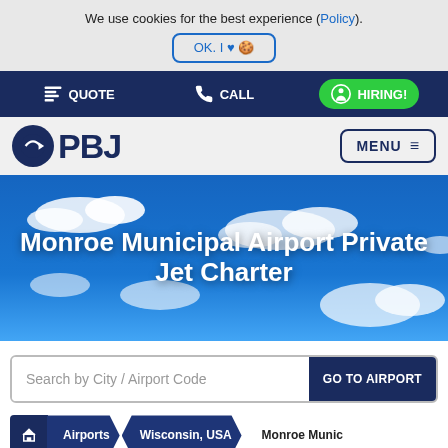We use cookies for the best experience (Policy).
OK. I ♥ 🍪
QUOTE | CALL | HIRING!
PBJ
MENU ☰
[Figure (photo): Blue sky with white clouds background for Monroe Municipal Airport Private Jet Charter hero section]
Monroe Municipal Airport Private Jet Charter
Search by City / Airport Code — GO TO AIRPORT
🏠 Airports › Wisconsin, USA › Monroe Munic